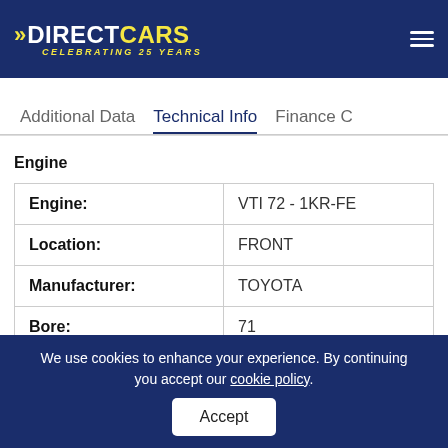DIRECT CARS - CELEBRATING 25 YEARS
Additional Data | Technical Info | Finance C
Engine
|  |  |
| --- | --- |
| Engine: | VTI 72 - 1KR-FE |
| Location: | FRONT |
| Manufacturer: | TOYOTA |
| Bore: | 71 |
| Stroke: | 84 |
| Cylinders: | 3 INLINE |
We use cookies to enhance your experience. By continuing you accept our cookie policy.